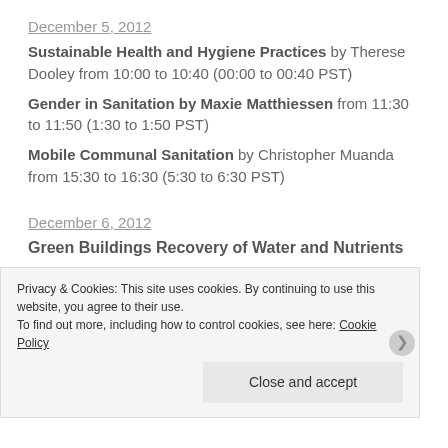December 5, 2012
Sustainable Health and Hygiene Practices by Therese Dooley from 10:00 to 10:40 (00:00 to 00:40 PST)
Gender in Sanitation by Maxie Matthiessen from 11:30 to 11:50 (1:30 to 1:50 PST)
Mobile Communal Sanitation by Christopher Muanda from 15:30 to 16:30 (5:30 to 6:30 PST)
December 6, 2012
Green Buildings Recovery of Water and Nutrients
Privacy & Cookies: This site uses cookies. By continuing to use this website, you agree to their use. To find out more, including how to control cookies, see here: Cookie Policy